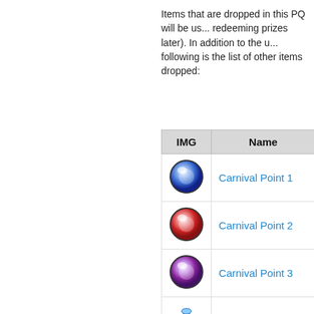Items that are dropped in this PQ will be us... redeeming prizes later). In addition to the u... following is the list of other items dropped:
| IMG | Name |
| --- | --- |
| [blue orb] | Carnival Point 1 |
| [red orb] | Carnival Point 2 |
| [purple orb] | Carnival Point 3 |
| [blue potion] | Party Mana Elixir |
| [green potion] | Party Elixir |
| [blue potion2] | Party Power Elixir |